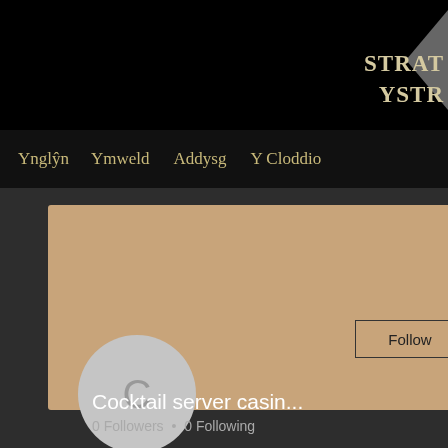[Figure (screenshot): Welsh heritage website navigation screenshot showing STRAT YSTR branding, nav items: Ynglŷn, Ymweld, Addysg, Y Cloddio, and a user profile card for 'Cocktail server casin...' with follow button, avatar, 0 Followers, 0 Following. Right panel shows Profile, Join date: 10 Mai 2, About, and Cocktail ser sections.]